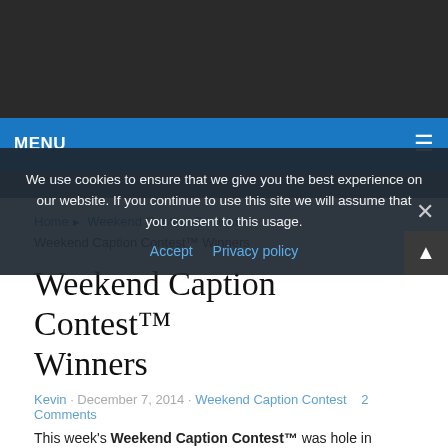MENU
Home ▶ Weekend Caption Contest ▶ Weekend Caption Contest™ Winners
Weekend Caption Contest™ Winners
Kevin · December 7, 2014 · Weekend Caption Contest · 2 Comments
This week's Weekend Caption Contest™ was hole in
We use cookies to ensure that we give you the best experience on our website. If you continue to use this site we will assume that you consent to this usage.